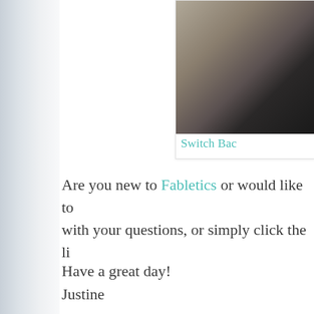[Figure (photo): Partial photo of a person in dark clothing standing on carpet/floor, cropped into a card-like box in the upper right area of the page.]
Switch Bac
Are you new to Fabletics or would like to with your questions, or simply click the li
Have a great day!
Justine